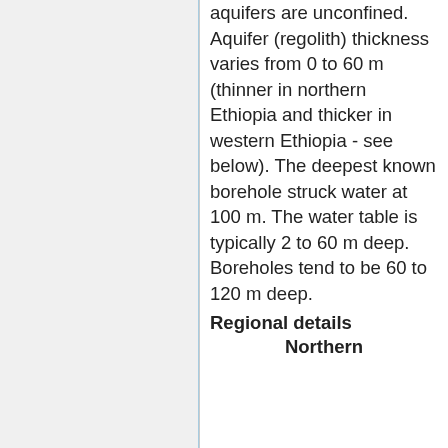aquifers are unconfined. Aquifer (regolith) thickness varies from 0 to 60 m (thinner in northern Ethiopia and thicker in western Ethiopia - see below). The deepest known borehole struck water at 100 m. The water table is typically 2 to 60 m deep. Boreholes tend to be 60 to 120 m deep.
Regional details
Northern